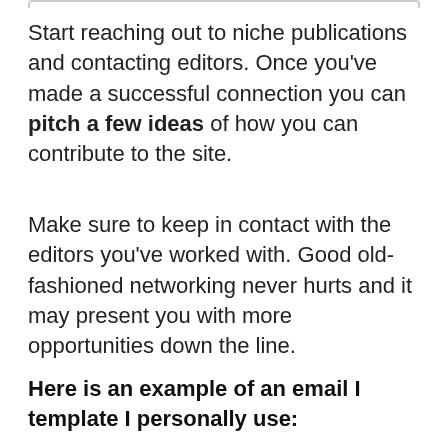Start reaching out to niche publications and contacting editors. Once you've made a successful connection you can pitch a few ideas of how you can contribute to the site.
Make sure to keep in contact with the editors you've worked with. Good old-fashioned networking never hurts and it may present you with more opportunities down the line.
Here is an example of an email I template I personally use: